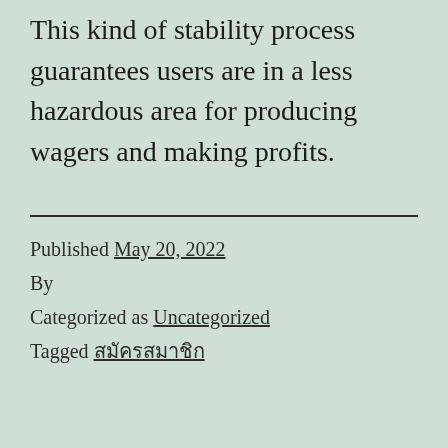This kind of stability process guarantees users are in a less hazardous area for producing wagers and making profits.
Published May 20, 2022
By
Categorized as Uncategorized
Tagged สมัครสมาชิก